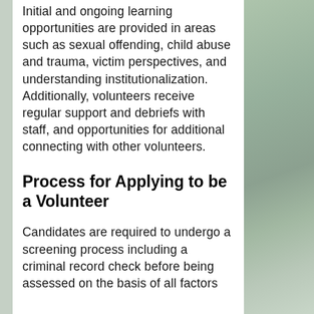Initial and ongoing learning opportunities are provided in areas such as sexual offending, child abuse and trauma, victim perspectives, and understanding institutionalization. Additionally, volunteers receive regular support and debriefs with staff, and opportunities for additional connecting with other volunteers.
Process for Applying to be a Volunteer
Candidates are required to undergo a screening process including a criminal record check before being assessed on the basis of all factors